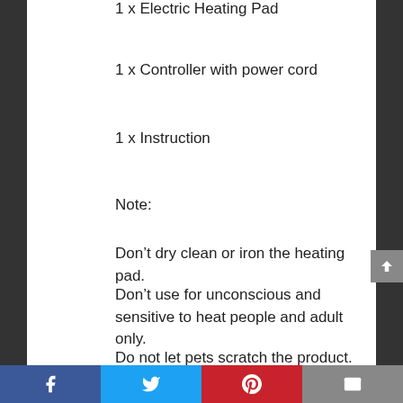1 x Electric Heating Pad
1 x Controller with power cord
1 x Instruction
Note:
Don’t dry clean or iron the heating pad.
Don’t use for unconscious and sensitive to heat people and adult only.
Do not let pets scratch the product.